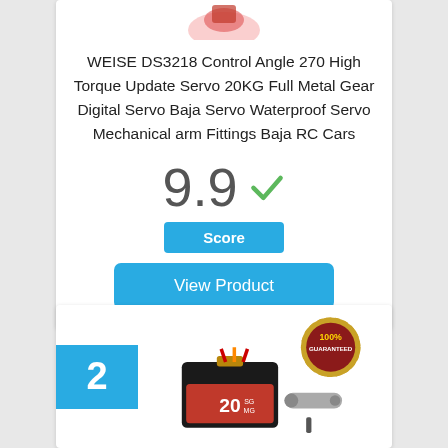[Figure (photo): Product image of WEISE DS3218 servo motor (partially visible at top of first card)]
WEISE DS3218 Control Angle 270 High Torque Update Servo 20KG Full Metal Gear Digital Servo Baja Servo Waterproof Servo Mechanical arm Fittings Baja RC Cars
9.9
Score
View Product
2
[Figure (photo): Product image of a red and black servo motor with a 100% Guaranteed badge, shown with servo arm accessory]